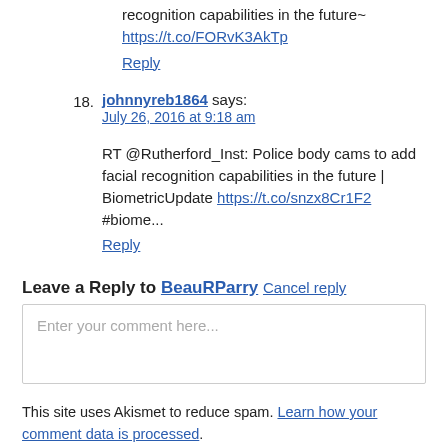recognition capabilities in the future~ https://t.co/FORvK3AkTp
Reply
18. johnnyreb1864 says: July 26, 2016 at 9:18 am
RT @Rutherford_Inst: Police body cams to add facial recognition capabilities in the future | BiometricUpdate https://t.co/snzx8Cr1F2 #biome...
Reply
Leave a Reply to BeauRParry Cancel reply
Enter your comment here...
This site uses Akismet to reduce spam. Learn how your comment data is processed.
Subscribe To The